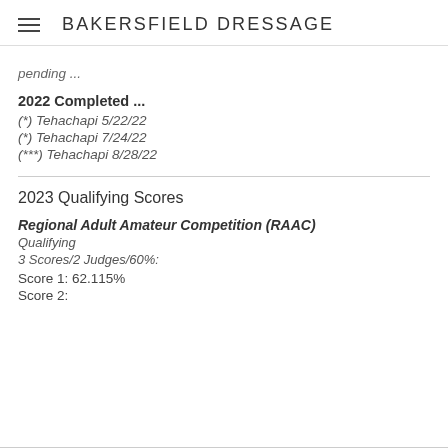BAKERSFIELD DRESSAGE
pending ...
2022 Completed ...
(*) Tehachapi 5/22/22
(*) Tehachapi 7/24/22
(***) Tehachapi 8/28/22
2023 Qualifying Scores
Regional Adult Amateur Competition (RAAC)
Qualifying
3 Scores/2 Judges/60%:
Score 1: 62.115%
Score 2: